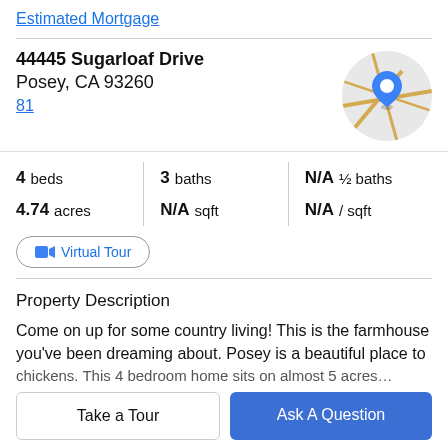Estimated Mortgage
44445 Sugarloaf Drive
Posey, CA 93260
81
[Figure (map): Circular map thumbnail showing a location pin marker on a road map for Posey, CA 93260]
| 4 beds | 3 baths | N/A ½ baths |
| 4.74 acres | N/A sqft | N/A / sqft |
Virtual Tour
Property Description
Come on up for some country living! This is the farmhouse you've been dreaming about. Posey is a beautiful place to
Take a Tour
Ask A Question